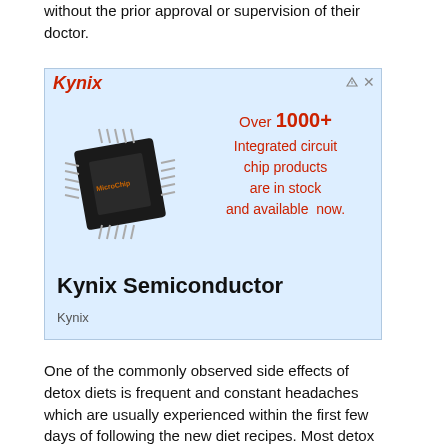without the prior approval or supervision of their doctor.
[Figure (other): Kynix Semiconductor advertisement banner featuring a Microchip integrated circuit chip image, text reading 'Over 1000+ Integrated circuit chip products are in stock and available now.', logo 'Kynix' in red italic, heading 'Kynix Semiconductor', and subtext 'Kynix'.]
One of the commonly observed side effects of detox diets is frequent and constant headaches which are usually experienced within the first few days of following the new diet recipes. Most detox diets also restrict a person's coffee intake and in such cases, the constant